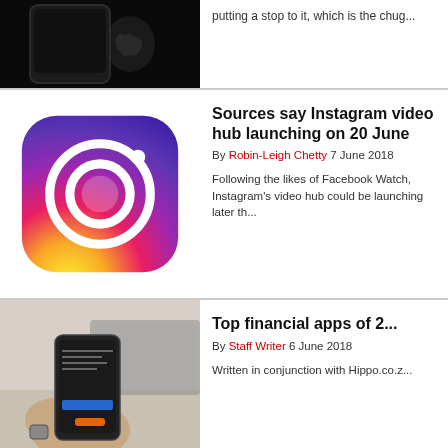[Figure (photo): Apple iPhone on black background]
putting a stop to it, which is the chug...
[Figure (logo): Instagram logo icon with gradient background]
Sources say Instagram video hub launching on 20 June
By Robin-Leigh Chetty 7 June 2018
Following the likes of Facebook Watch, Instagram's video hub could be launching later th...
[Figure (photo): Hands holding a smartphone showing financial app, laptop in background]
Top financial apps of 2...
By Staff Writer 6 June 2018
Written in conjunction with Hippo.co.z...